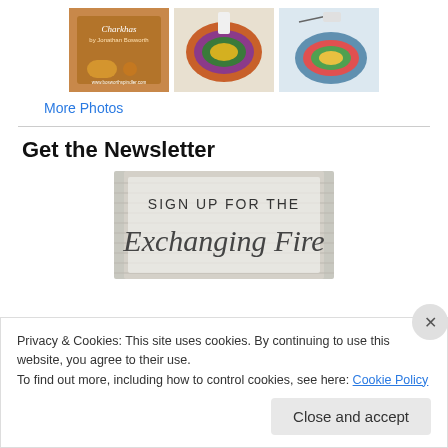[Figure (photo): Three thumbnail photos: a book about Charkhas by Jonathan Bosworth, a skein of multicolored yarn, and another skein of striped yarn.]
More Photos
[Figure (illustration): Newsletter sign-up banner reading 'SIGN UP FOR THE Exchanging Fire' with a knitted/woven fabric texture background.]
Get the Newsletter
Privacy & Cookies: This site uses cookies. By continuing to use this website, you agree to their use.
To find out more, including how to control cookies, see here: Cookie Policy
Close and accept